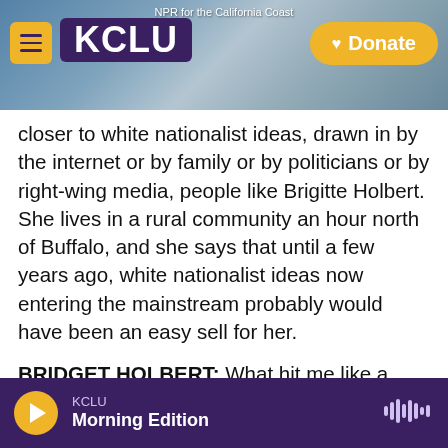[Figure (screenshot): KCLU NPR for the California Coast website header with logo, hamburger menu, and Donate button over a coastal background photo]
closer to white nationalist ideas, drawn in by the internet or by family or by politicians or by right-wing media, people like Brigitte Holbert. She lives in a rural community an hour north of Buffalo, and she says that until a few years ago, white nationalist ideas now entering the mainstream probably would have been an easy sell for her.
BRIDGET HOLBERT: What hit me like a Mack truck was how close to those ideas I already was.
FLORIDO: Holbert grew up in a conservative evangelical family in New York's Adirondack
KCLU Morning Edition